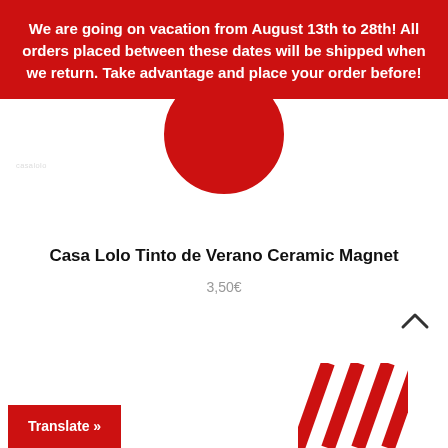We are going on vacation from August 13th to 28th! All orders placed between these dates will be shipped when we return. Take advantage and place your order before!
[Figure (photo): Partial view of a red circular ceramic magnet product, cropped at the top of the image area]
Casa Lolo Tinto de Verano Ceramic Magnet
3,50€
[Figure (photo): Partial view of another red and white striped ceramic product at bottom right, cropped]
Translate »